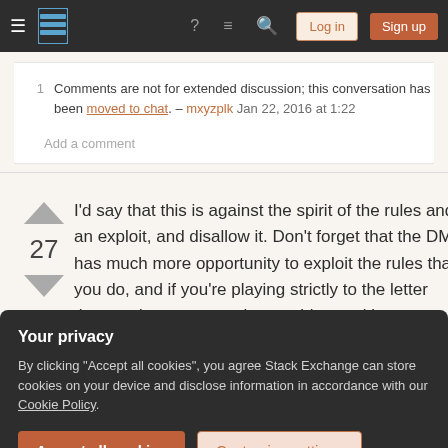Stack Exchange navigation bar with Log in and Sign up buttons
1  Comments are not for extended discussion; this conversation has been moved to chat. – mxyzplk Jan 22, 2016 at 1:22
Add a comment
I'd say that this is against the spirit of the rules and an exploit, and disallow it. Don't forget that the DM has much more opportunity to exploit the rules than you do, and if you're playing strictly to the letter then you're gonna run into problems with any system.
Your privacy
By clicking "Accept all cookies", you agree Stack Exchange can store cookies on your device and disclose information in accordance with our Cookie Policy.
Accept all cookies   Customize settings
to throw it. 2-2155 ready an action to pass it to the